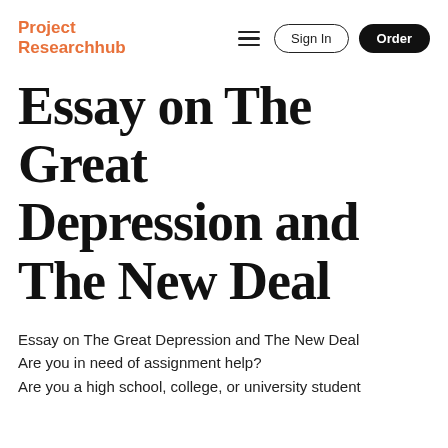Project Researchhub
Essay on The Great Depression and The New Deal
Essay on The Great Depression and The New Deal Are you in need of assignment help? Are you a high school, college, or university student